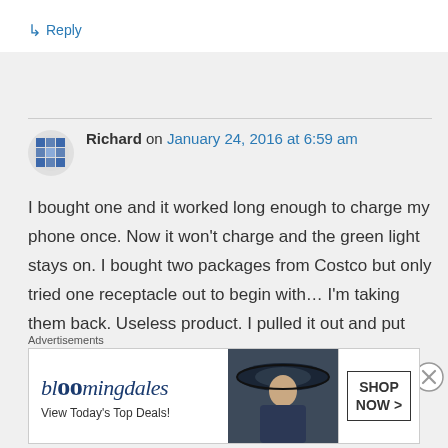↳ Reply
Richard on January 24, 2016 at 6:59 am
I bought one and it worked long enough to charge my phone once. Now it won't charge and the green light stays on. I bought two packages from Costco but only tried one receptacle out to begin with… I'm taking them back. Useless product. I pulled it out and put
Advertisements
[Figure (screenshot): Bloomingdale's advertisement banner with logo, 'View Today's Top Deals!' tagline, woman in hat image, and 'SHOP NOW >' button]